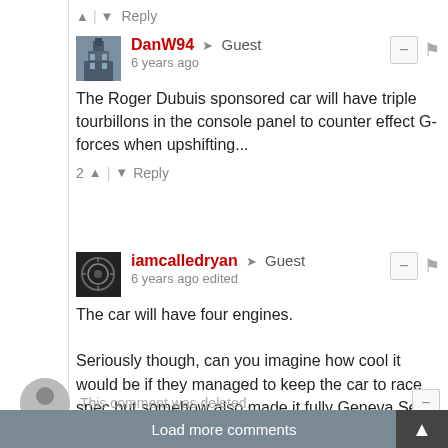↑ | ↓ Reply
DanW94 → Guest
6 years ago
The Roger Dubuis sponsored car will have triple tourbillons in the console panel to counter effect G-forces when upshifting...
2 ↑ | ↓ Reply
iamcalledryan → Guest
6 years ago edited
The car will have four engines.

Seriously though, can you imagine how cool it would be if they managed to keep the car to race spec but somehow also made it fully Geneva Seal compliant?
2 ↑ | ↓ Reply
This comment was deleted.
Load more comments